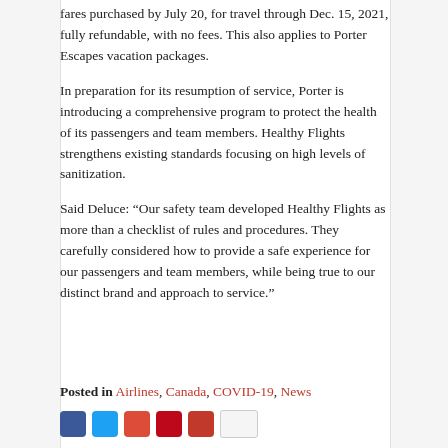fares purchased by July 20, for travel through Dec. 15, 2021, fully refundable, with no fees. This also applies to Porter Escapes vacation packages.
In preparation for its resumption of service, Porter is introducing a comprehensive program to protect the health of its passengers and team members. Healthy Flights strengthens existing standards focusing on high levels of sanitization.
Said Deluce: “Our safety team developed Healthy Flights as more than a checklist of rules and procedures. They carefully considered how to provide a safe experience for our passengers and team members, while being true to our distinct brand and approach to service.”
Posted in Airlines, Canada, COVID-19, News